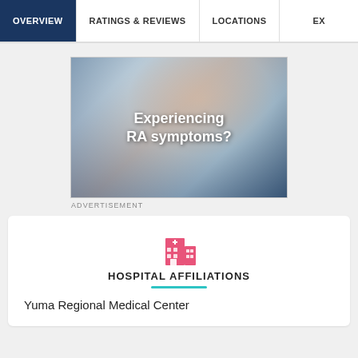OVERVIEW | RATINGS & REVIEWS | LOCATIONS | EX...
[Figure (photo): Advertisement image showing a blurred hand with text overlay 'Experiencing RA symptoms?']
ADVERTISEMENT
[Figure (illustration): Pink hospital building icon]
HOSPITAL AFFILIATIONS
Yuma Regional Medical Center